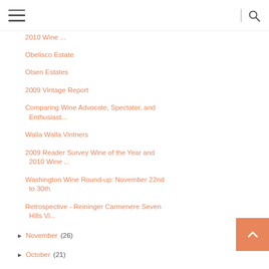Navigation menu and search
2010 Wine ...
Obelisco Estate
Olsen Estates
2009 Vintage Report
Comparing Wine Advocate, Spectator, and Enthusiast...
Walla Walla Vintners
2009 Reader Survey Wine of the Year and 2010 Wine ...
Washington Wine Round-up: November 22nd to 30th
Retrospective - Reininger Carmenere Seven Hills Vi...
▶ November (26)
▶ October (21)